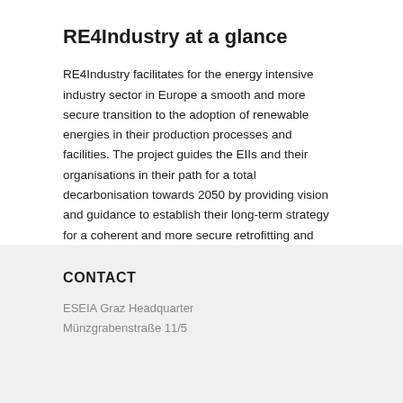RE4Industry at a glance
RE4Industry facilitates for the energy intensive industry sector in Europe a smooth and more secure transition to the adoption of renewable energies in their production processes and facilities. The project guides the EIIs and their organisations in their path for a total decarbonisation towards 2050 by providing vision and guidance to establish their long-term strategy for a coherent and more secure retrofitting and integration of current and future renewable energy solutions in their facilities and processes. More information about the project is available here.
CONTACT
ESEIA Graz Headquarter
Münzgrabenstraße 11/5